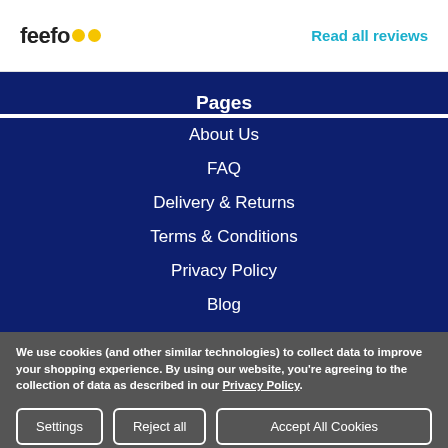feefo  Read all reviews
Pages
About Us
FAQ
Delivery & Returns
Terms & Conditions
Privacy Policy
Blog
We use cookies (and other similar technologies) to collect data to improve your shopping experience. By using our website, you're agreeing to the collection of data as described in our Privacy Policy.
Settings  Reject all  Accept All Cookies